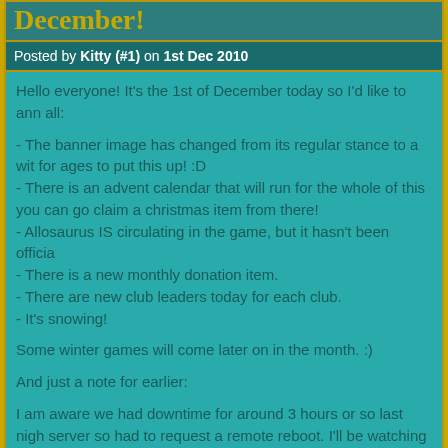December!
Posted by Kitty (#1) on 1st Dec 2010
Hello everyone! It's the 1st of December today so I'd like to ann all:

- The banner image has changed from its regular stance to a wit for ages to put this up! :D
- There is an advent calendar that will run for the whole of this you can go claim a christmas item from there!
- Allosaurus IS circulating in the game, but it hasn't been officia
- There is a new monthly donation item.
- There are new club leaders today for each club.
- It's snowing!

Some winter games will come later on in the month. :)

And just a note for earlier:

I am aware we had downtime for around 3 hours or so last nigh server so had to request a remote reboot. I'll be watching to see
Thanksgiving~
Posted by Kitty (#1) on 25th Nov 2010